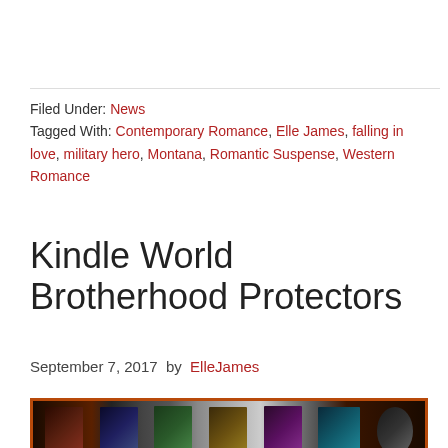Filed Under: News
Tagged With: Contemporary Romance, Elle James, falling in love, military hero, Montana, Romantic Suspense, Western Romance
Kindle World Brotherhood Protectors
September 7, 2017 by ElleJames
[Figure (photo): A collage/banner image showing multiple book covers for the Brotherhood Protectors Kindle World series, displayed side by side against a dark orange-red background with an orange border frame.]